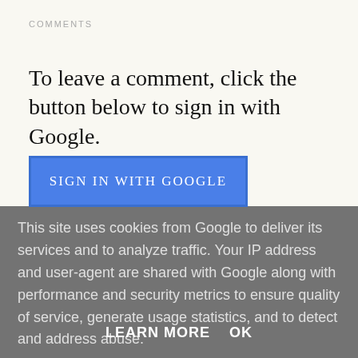COMMENTS
To leave a comment, click the button below to sign in with Google.
[Figure (other): Blue button labeled SIGN IN WITH GOOGLE]
This site uses cookies from Google to deliver its services and to analyze traffic. Your IP address and user-agent are shared with Google along with performance and security metrics to ensure quality of service, generate usage statistics, and to detect and address abuse.
LEARN MORE    OK